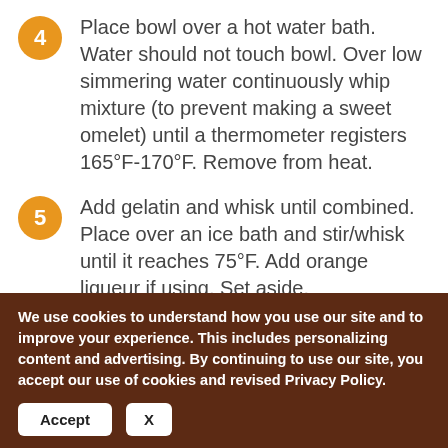4 Place bowl over a hot water bath. Water should not touch bowl. Over low simmering water continuously whip mixture (to prevent making a sweet omelet) until a thermometer registers 165°F-170°F. Remove from heat.
5 Add gelatin and whisk until combined. Place over an ice bath and stir/whisk until it reaches 75°F. Add orange liqueur if using. Set aside.
6 Whip egg whites and remaining sugar
We use cookies to understand how you use our site and to improve your experience. This includes personalizing content and advertising. By continuing to use our site, you accept our use of cookies and revised Privacy Policy.